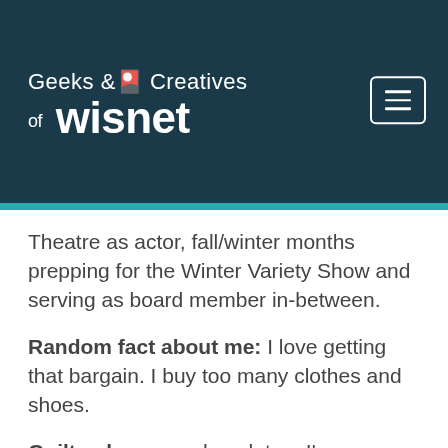[Figure (logo): Geeks & Creatives of wisnet logo with hamburger menu button on dark navy background with teal bottom bar]
Theatre as actor, fall/winter months prepping for the Winter Variety Show and serving as board member in-between.
Random fact about me: I love getting that bargain. I buy too many clothes and shoes.
Guilty pleasure: chocolate – I'm completely addicted to chocolate, and